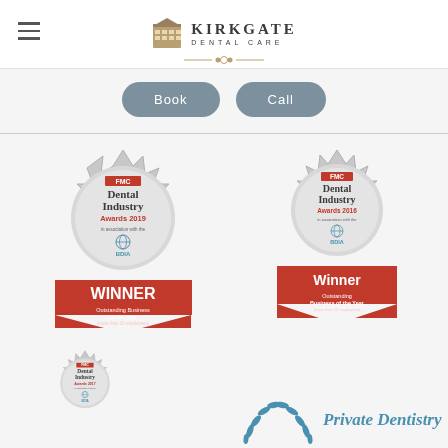[Figure (logo): Kirkgate Dental Care logo with building icon and decorative divider]
[Figure (other): Book and Call rounded rectangle buttons in grey]
[Figure (other): FMC Dental Industry Awards 2019 WINNER Outstanding Business of the Year (more than 10 employees) badge with BDIA association]
[Figure (other): FMC Dental Industry Awards 2016 Winner Outstanding Business of the Year (more than 20 employees) badge with BDIA association]
[Figure (other): FMC Dental Industry Awards 2017 badge with BDIA association (partially visible)]
[Figure (logo): Private Dentistry logo with laurel/leaf icons (partially visible)]